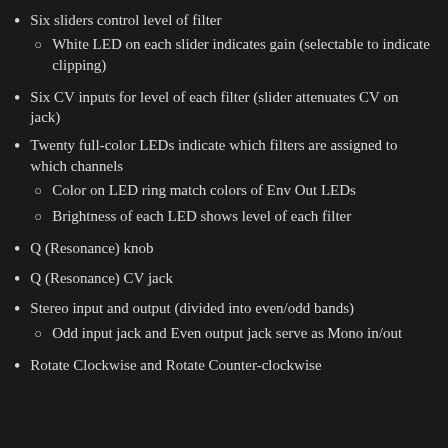Six sliders control level of filter
○ White LED on each slider indicates gain (selectable to indicate clipping)
Six CV inputs for level of each filter (slider attenuates CV on jack)
Twenty full-color LEDs indicate which filters are assigned to which channels
○ Color on LED ring match colors of Env Out LEDs
○ Brightness of each LED shows level of each filter
Q (Resonance) knob
Q (Resonance) CV jack
Stereo input and output (divided into even/odd bands)
○ Odd input jack and Even output jack serve as Mono in/out
Rotate Clockwise and Rotate Counter-clockwise